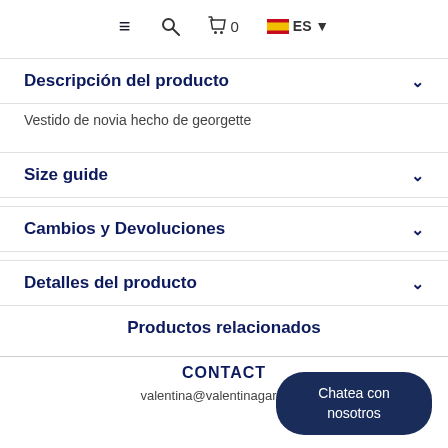≡  🔍  🛍 0  🇪🇸 ES ▾
Descripción del producto
Vestido de novia hecho de georgette
Size guide
Cambios y Devoluciones
Detalles del producto
Productos relacionados
CONTACT
valentina@valentinagari.com
Chatea con nosotros